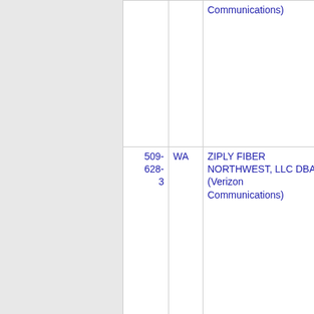| Number | State | Name | Code |
| --- | --- | --- | --- |
|  |  | Communications) |  |
| 509-628-3 | WA | ZIPLY FIBER NORTHWEST, LLC DBA (Verizon Communications) | 4324 |
| 509-628- | WA | ONVOY, LLC - WA (Inteliquent) | 483E |